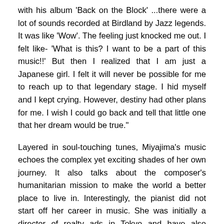with his album 'Back on the Block' ...there were a lot of sounds recorded at Birdland by Jazz legends. It was like 'Wow'. The feeling just knocked me out. I felt like- 'What is this? I want to be a part of this music!!' But then I realized that I am just a Japanese girl. I felt it will never be possible for me to reach up to that legendary stage. I hid myself and I kept crying. However, destiny had other plans for me. I wish I could go back and tell that little one that her dream would be true."
Layered in soul-touching tunes, Miyajima's music echoes the complex yet exciting shades of her own journey. It also talks about the composer's humanitarian mission to make the world a better place to live in. Interestingly, the pianist did not start off her career in music. She was initially a director of realty ads in Tokyo and have also dabbled in jobs as IT engineers & chief editor of a travel magazine. However, in 2004, she finally decided to leave the mundane 9-6 jobs to follow her passion in music. A highly